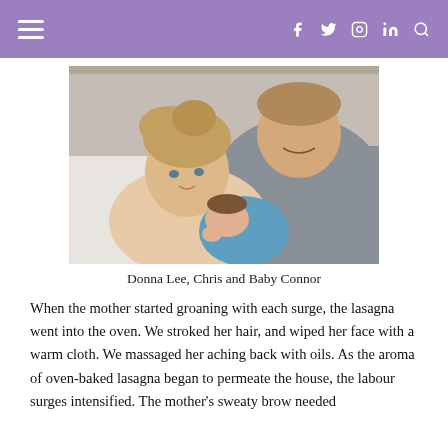≡  f  twitter  instagram  in  search
[Figure (photo): A woman (Donna Lee) lying in a hospital bed holding a newborn baby wrapped in a blue towel, with a man (Chris) smiling behind her.]
Donna Lee, Chris and Baby Connor
When the mother started groaning with each surge, the lasagna went into the oven. We stroked her hair, and wiped her face with a warm cloth. We massaged her aching back with oils. As the aroma of oven-baked lasagna began to permeate the house, the labour surges intensified. The mother's sweaty brow needed